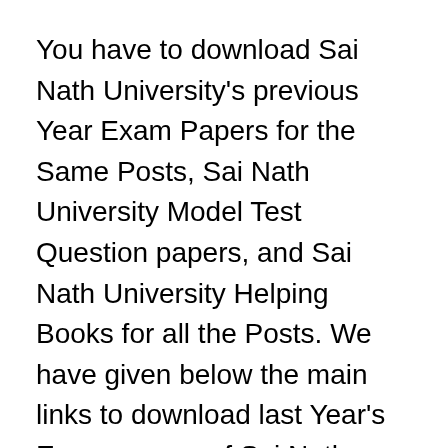You have to download Sai Nath University's previous Year Exam Papers for the Same Posts, Sai Nath University Model Test Question papers, and Sai Nath University Helping Books for all the Posts. We have given below the main links to download last Year's Exam papers of Sai Nath University.
After studying from last Year's Exams Papers of Sai Nath University, you will know better than the best information. We will give you the best information on time so aware all time. Sai Nath University Examination will be held in the upcoming days.
Before that, we want Sai Nath University contenders to be ready for that Examination. This